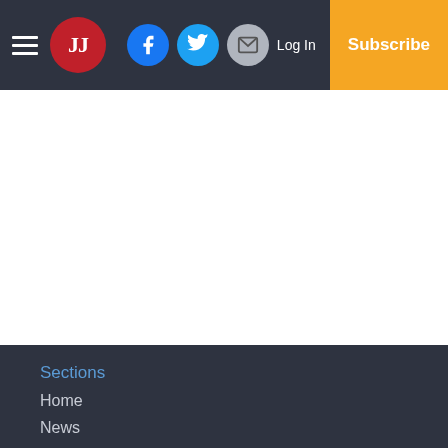JJ newspaper header with hamburger menu, JJ logo, Facebook, Twitter, Email icons, Log In, Subscribe
Sections
Home
News
Sports
Obituaries
Opinion
Public Records
Contests
Classifieds